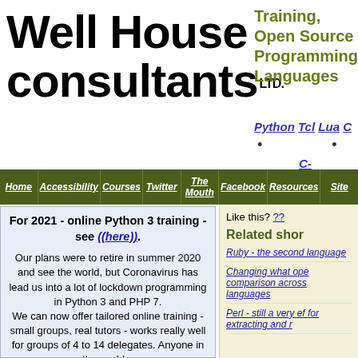[Figure (logo): Well House Consultants LTD. logo in bold black serif/display font]
Training, Open Source Programming Languages
Python Tcl Lua C • • • C-
Home | Accessibility | Courses | Twitter | The Mouth | Facebook | Resources | Site
For 2021 - online Python 3 training - see ((here)).
Our plans were to retire in summer 2020 and see the world, but Coronavirus has lead us into a lot of lockdown programming in Python 3 and PHP 7. We can now offer tailored online training - small groups, real tutors - works really well for groups of 4 to 14 delegates. Anyone in the world...
Like this? ??
Related shor
Ruby - the second language
Changing what ope comparison across languages
Perl - still a very ef for extracting and r